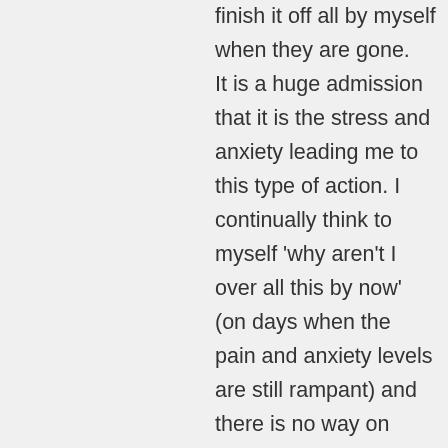finish it off all by myself when they are gone. It is a huge admission that it is the stress and anxiety leading me to this type of action. I continually think to myself 'why aren't I over all this by now' (on days when the pain and anxiety levels are still rampant) and there is no way on those days that my logic brain wins over my crushed soul……. and the body loses out, with the cake eating. I guess the first step is recognising it.
↳ Reply
2010claudia on April 14, 2013 at 12:51